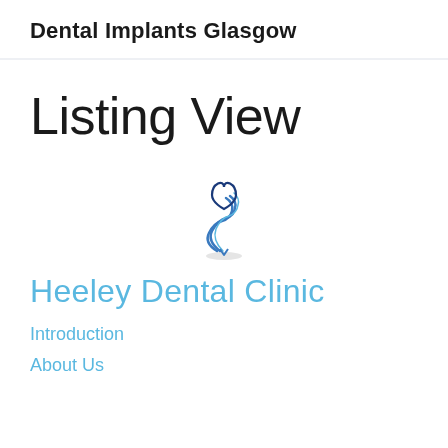Dental Implants Glasgow
Listing View
[Figure (logo): Dental implant logo: a blue spiral screw shape topped with a heart-shaped tooth outline, with a small shadow beneath]
Heeley Dental Clinic
Introduction
About Us